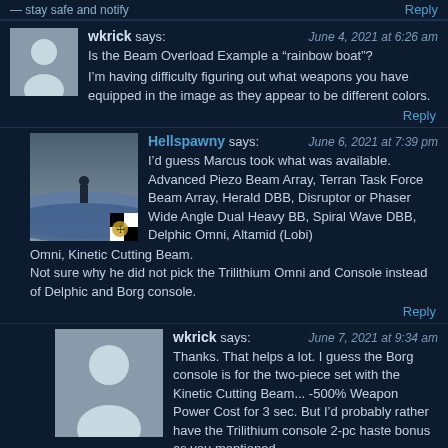stay safe and notify
Reply
wkrick says: June 4, 2021 at 6:26 am
Is the Beam Overload Example a “rainbow boat”?
I’m having difficulty figuring out what weapons you have equipped in the image as they appear to be different colors.
Reply
Hellspawny says: June 6, 2021 at 7:39 pm
I’d guess Marcus took what was available. Advanced Piezo Beam Array, Terran Task Force Beam Array, Herald DBB, Disruptor or Phaser Wide Angle Dual Heavy BB, Spiral Wave DBB, Delphic Omni, Altamid (Lobi) Omni, Kinetic Cutting Beam. Not sure why he did not pick the Trilithium Omni and Console instead of Delphic and Borg console.
Reply
wkrick says: June 7, 2021 at 9:34 am
Thanks. That helps a lot. I guess the Borg console is for the two-piece set with the Kinetic Cutting Beam... -500% Weapon Power Cost for 3 sec. But I’d probably rather have the Trilithium console 2-pc haste bonus as you mentioned.
I’m curious about the second-to-last Tactical console. The icon looks like “Temporal Trajectory Shifter” but that doesn’t seem like that great of a console. The cooldown on the clicky is 2 minutes.